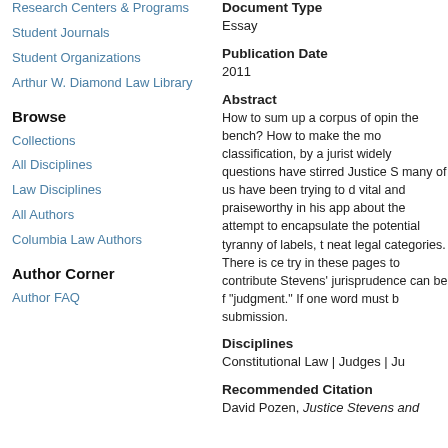Research Centers & Programs
Student Journals
Student Organizations
Arthur W. Diamond Law Library
Browse
Collections
All Disciplines
Law Disciplines
All Authors
Columbia Law Authors
Author Corner
Author FAQ
Document Type
Essay
Publication Date
2011
Abstract
How to sum up a corpus of opin the bench? How to make the mo classification, by a jurist widely questions have stirred Justice S many of us have been trying to d vital and praiseworthy in his app about the attempt to encapsulate the potential tyranny of labels, t neat legal categories. There is ce try in these pages to contribute Stevens' jurisprudence can be f "judgment." If one word must b submission.
Disciplines
Constitutional Law | Judges | Ju
Recommended Citation
David Pozen, Justice Stevens and